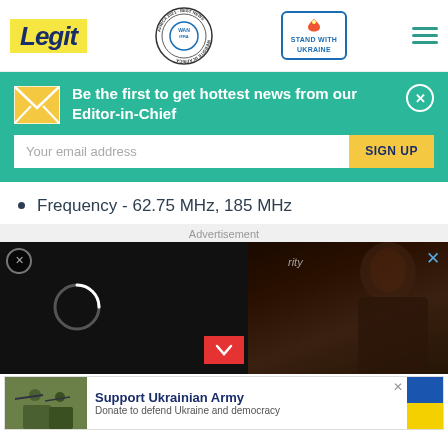[Figure (logo): Legit.ng website header with Legit logo in yellow, WAN-IFRA 2021 Best News Website in Africa badge, Stand With Ukraine badge, and hamburger menu icon]
[Figure (screenshot): Newsletter signup banner: 'Be the first to get hottest news from our Editor-in-Chief' on teal background with email input and SIGN UP button]
Frequency - 62.75 MHz, 185 MHz
[Figure (photo): Advertisement section with dark video ad showing loading circle and person with braided hair, with red chevron button]
[Figure (screenshot): Support Ukrainian Army banner ad with military photo, text 'Support Ukrainian Army - Donate to defend Ukraine and democracy' and Ukrainian flag colors]